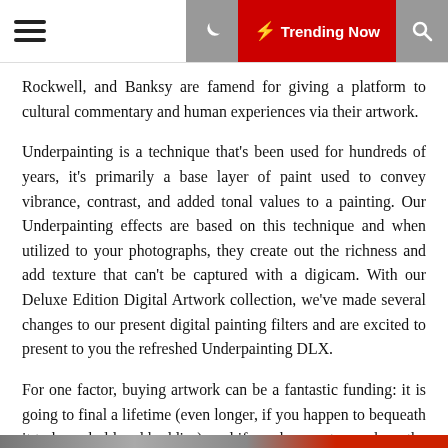Trending Now
Rockwell, and Banksy are famend for giving a platform to cultural commentary and human experiences via their artwork.
Underpainting is a technique that's been used for hundreds of years, it's primarily a base layer of paint used to convey vibrance, contrast, and added tonal values to a painting. Our Underpainting effects are based on this technique and when utilized to your photographs, they create out the richness and add texture that can't be captured with a digicam. With our Deluxe Edition Digital Artwork collection, we've made several changes to our present digital painting filters and are excited to present to you the refreshed Underpainting DLX.
For one factor, buying artwork can be a fantastic funding: it is going to final a lifetime (even longer, if you happen to bequeath it to household and buddies), and if you happen to purchase the work of an rising or mid-stage